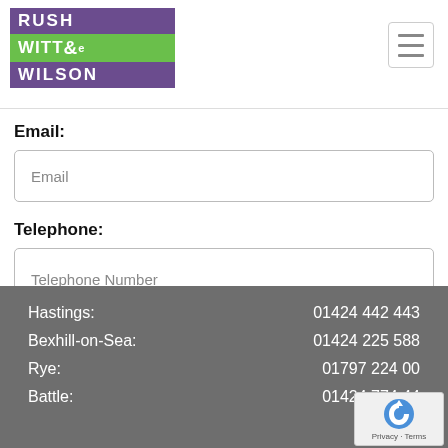[Figure (logo): Rush Witt & Wilson estate agents logo with purple and green blocks]
Email:
Email
Telephone:
Telephone Number
Send
| Hastings: | 01424 442 443 |
| Bexhill-on-Sea: | 01424 225 588 |
| Rye: | 01797 224 00... |
| Battle: | 01424 774 44... |